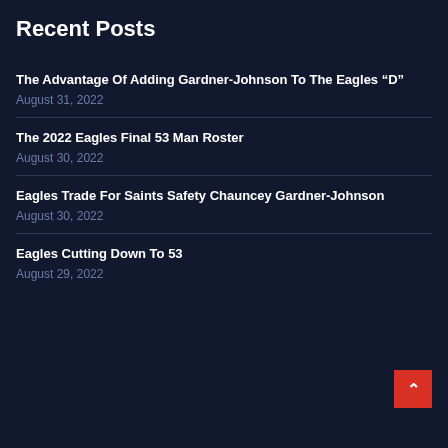Recent Posts
The Advantage Of Adding Gardner-Johnson To The Eagles “D”
August 31, 2022
The 2022 Eagles Final 53 Man Roster
August 30, 2022
Eagles Trade For Saints Safety Chauncey Gardner-Johnson
August 30, 2022
Eagles Cutting Down To 53
August 29, 2022